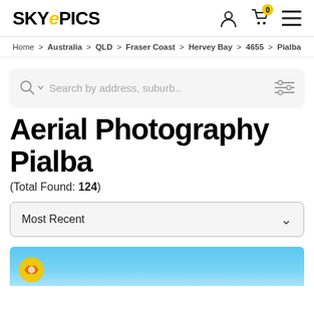SKYEPICS
Home > Australia > QLD > Fraser Coast > Hervey Bay > 4655 > Pialba
Search by address, suburb..
Aerial Photography Pialba
(Total Found: 124)
Most Recent
[Figure (screenshot): Bottom partial image showing blue sky background with a drone/delivery icon]